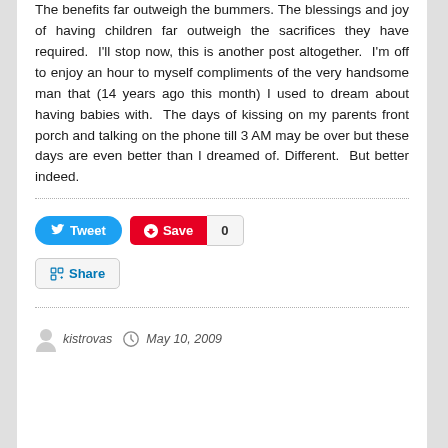The benefits far outweigh the bummers. The blessings and joy of having children far outweigh the sacrifices they have required.  I'll stop now, this is another post altogether.  I'm off to enjoy an hour to myself compliments of the very handsome man that (14 years ago this month) I used to dream about having babies with.  The days of kissing on my parents front porch and talking on the phone till 3 AM may be over but these days are even better than I dreamed of. Different.  But better indeed.
Tweet | Save 0 | Share
kistrovas  May 10, 2009